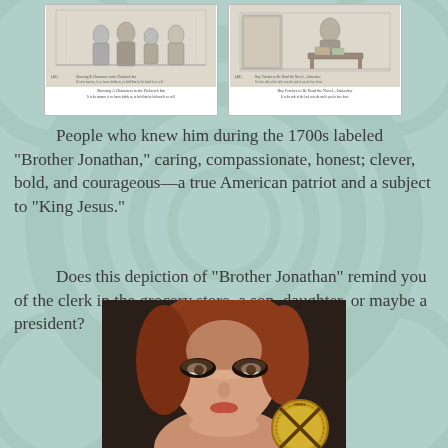[Figure (illustration): Two side-by-side vintage engravings/illustrations in white-bordered frames. Left shows a group of people in period dress. Right shows a figure reading at a desk. Each has small caption text below the image.]
People who knew him during the 1700s labeled "Brother Jonathan," caring, compassionate, honest; clever, bold, and courageous—a true American patriot and a subject to "King Jesus."
Does this depiction of "Brother Jonathan" remind you of the clerk in the grocery store, a son, daughter, or maybe a president?
[Figure (photo): Portrait photo of a woman with auburn hair and dramatic eye makeup, holding or near a gold coin/medallion with an X pattern in the lower portion.]